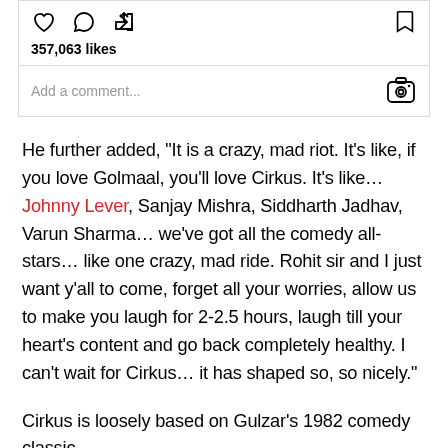[Figure (screenshot): Instagram action bar with heart, comment, share icons and bookmark icon, showing 357,063 likes, and a comment input field with Instagram camera icon]
He further added, “It is a crazy, mad riot. It’s like, if you love Golmaal, you’ll love Cirkus. It’s like… Johnny Lever, Sanjay Mishra, Siddharth Jadhav, Varun Sharma… we’ve got all the comedy all-stars… like one crazy, mad ride. Rohit sir and I just want y’all to come, forget all your worries, allow us to make you laugh for 2-2.5 hours, laugh till your heart’s content and go back completely healthy. I can’t wait for Cirkus… it has shaped so, so nicely.”
Cirkus is loosely based on Gulzar’s 1982 comedy classic,